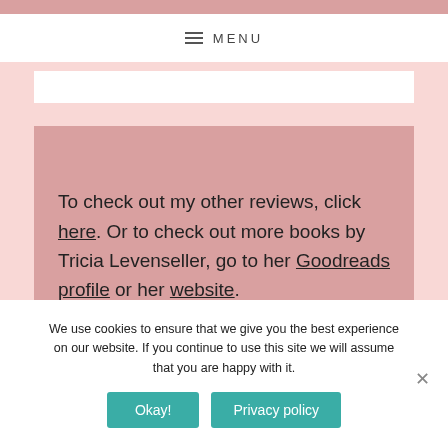MENU
To check out my other reviews, click here. Or to check out more books by Tricia Levenseller, go to her Goodreads profile or her website.
We use cookies to ensure that we give you the best experience on our website. If you continue to use this site we will assume that you are happy with it.